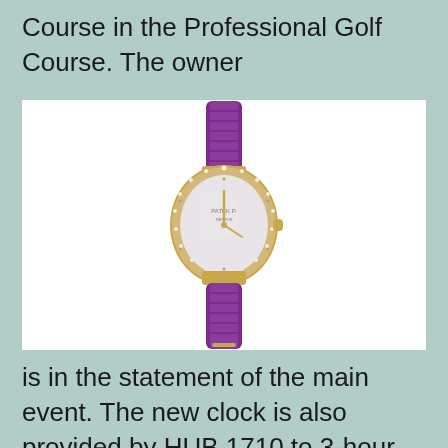Course in the Professional Golf Course. The owner
[Figure (photo): A luxury wristwatch with a purple/violet crocodile leather strap and a gold oval case set with diamonds around the bezel. The dial is white/silver with gold hands and numerals. The watch is displayed vertically against a white background.]
is in the statement of the main event. The new clock is also provided by HUB 1710 to 3-hour data window. The only permanent is Patek Philippe Calatrava 18K Yellow Gold